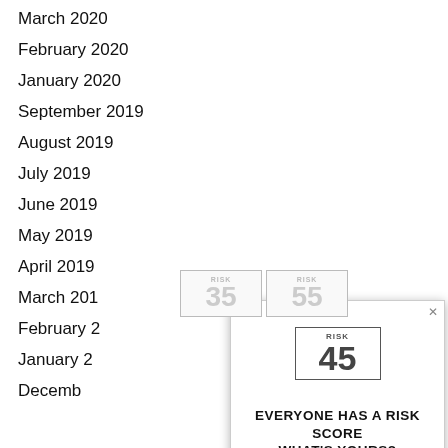March 2020
February 2020
January 2020
September 2019
August 2019
July 2019
June 2019
May 2019
April 2019
March 20[19]
February 2[019]
January 2[019]
Decemb[er]
[Figure (infographic): Popup overlay showing risk score cards for 35, 45, 55 with headline 'EVERYONE HAS A RISK SCORE WHAT'S YOURS?' and a yellow 'FIND OUT NOW' button. Caption: (It only takes 5 minutes)]